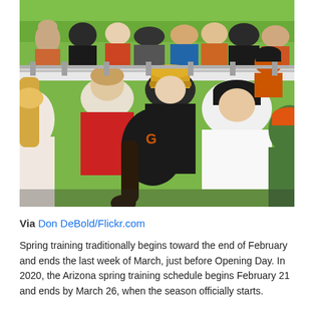[Figure (photo): Baseball fans sitting in stadium bleachers viewed from behind, wearing SF Giants gear including black caps with orange G logo, a person in red shirt, a person with yellow/gold baseball cap, and others in orange and white shirts. Green field visible in background.]
Via Don DeBold/Flickr.com
Spring training traditionally begins toward the end of February and ends the last week of March, just before Opening Day. In 2020, the Arizona spring training schedule begins February 21 and ends by March 26, when the season officially starts.